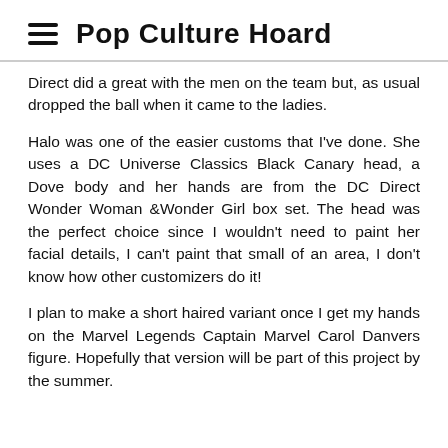Pop Culture Hoard
Direct did a great with the men on the team but, as usual dropped the ball when it came to the ladies.
Halo was one of the easier customs that I've done. She uses a DC Universe Classics Black Canary head, a Dove body and her hands are from the DC Direct Wonder Woman &Wonder Girl box set. The head was the perfect choice since I wouldn't need to paint her facial details, I can't paint that small of an area, I don't know how other customizers do it!
I plan to make a short haired variant once I get my hands on the Marvel Legends Captain Marvel Carol Danvers figure. Hopefully that version will be part of this project by the summer.